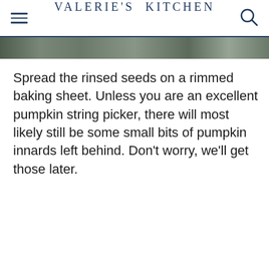VALERIE'S KITCHEN
[Figure (photo): Partial photo strip showing an outdoor/nature scene, cropped at top of content area]
Spread the rinsed seeds on a rimmed baking sheet. Unless you are an excellent pumpkin string picker, there will most likely still be some small bits of pumpkin innards left behind. Don’t worry, we’ll get those later.